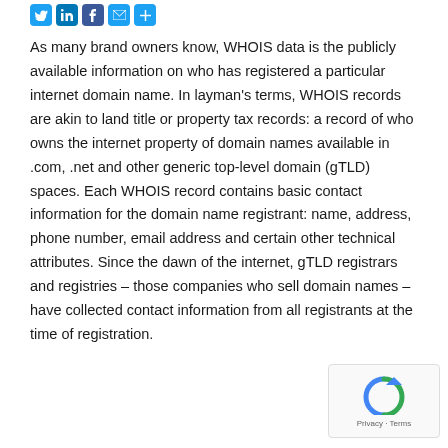[Figure (other): Social media sharing icons: Twitter, LinkedIn, Facebook, Email, Plus]
As many brand owners know, WHOIS data is the publicly available information on who has registered a particular internet domain name. In layman's terms, WHOIS records are akin to land title or property tax records: a record of who owns the internet property of domain names available in .com, .net and other generic top-level domain (gTLD) spaces. Each WHOIS record contains basic contact information for the domain name registrant: name, address, phone number, email address and certain other technical attributes. Since the dawn of the internet, gTLD registrars and registries – those companies who sell domain names – have collected contact information from all registrants at the time of registration.
[Figure (other): Google reCAPTCHA widget overlay showing Privacy and Terms links]